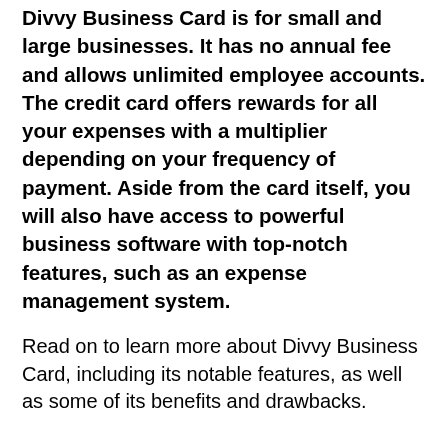Divvy Business Card is for small and large businesses. It has no annual fee and allows unlimited employee accounts. The credit card offers rewards for all your expenses with a multiplier depending on your frequency of payment. Aside from the card itself, you will also have access to powerful business software with top-notch features, such as an expense management system.
Read on to learn more about Divvy Business Card, including its notable features, as well as some of its benefits and drawbacks.